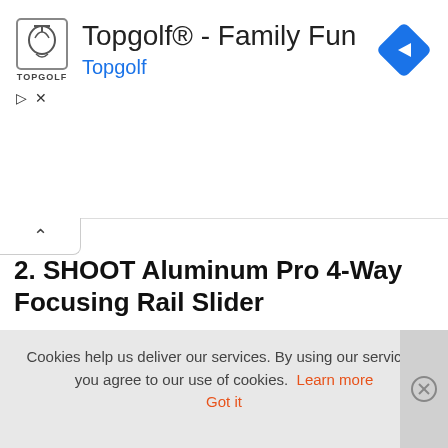[Figure (screenshot): Topgolf advertisement banner with logo, title 'Topgolf® - Family Fun', subtitle 'Topgolf', and a blue navigation diamond icon on the right]
2. SHOOT Aluminum Pro 4-Way Focusing Rail Slider
It is the newest product in the market. It helps photographers to position the camera and focus the object properly.
Get it now on Amazon
Cookies help us deliver our services. By using our services, you agree to our use of cookies. Learn more  Got it